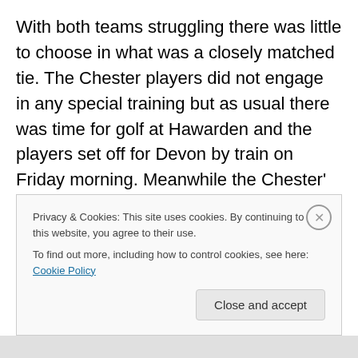With both teams struggling there was little to choose in what was a closely matched tie. The Chester players did not engage in any special training but as usual there was time for golf at Hawarden and the players set off for Devon by train on Friday morning. Meanwhile the Chester' Supporters Club arranged a day excursion, leaving at just after midnight on the day of the game and around 70 supporters availed themselves of the 47/2d trip. For those supporters who stayed at home it was arranged for the score at Exeter to be given out at the reserve game against Crewe at Sealand Road every 15 minutes
Privacy & Cookies: This site uses cookies. By continuing to use this website, you agree to their use.
To find out more, including how to control cookies, see here: Cookie Policy